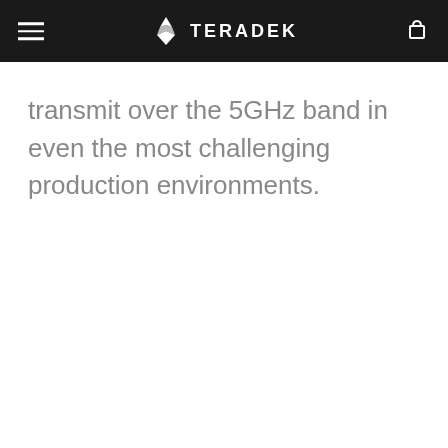TERADEK
transmit over the 5GHz band in even the most challenging production environments.